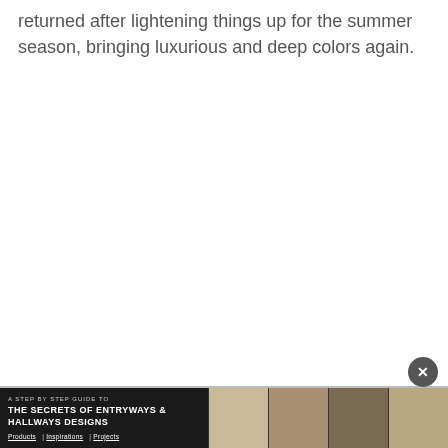returned after lightening things up for the summer season, bringing luxurious and deep colors again.
[Figure (infographic): Advertisement banner at the bottom: 'A STEP BY STEP GUIDE TO THE SECRETS OF ENTRYWAYS & HALLWAYS DESIGNS' with navigation links 'Products | Inspirations | Projects' and interior design images on the right side]